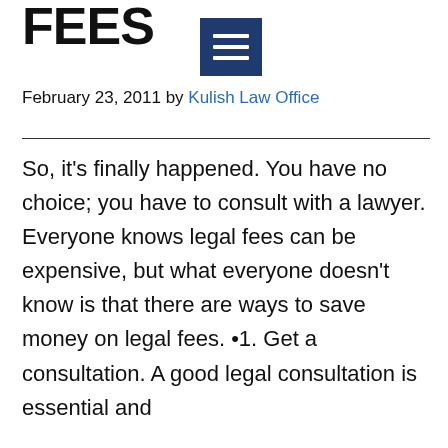FEES
February 23, 2011 by Kulish Law Office
So, it's finally happened. You have no choice; you have to consult with a lawyer. Everyone knows legal fees can be expensive, but what everyone doesn't know is that there are ways to save money on legal fees. • 1. Get a consultation. A good legal consultation is essential and